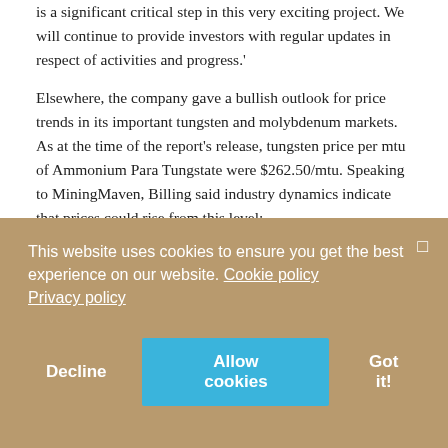is a significant critical step in this very exciting project. We will continue to provide investors with regular updates in respect of activities and progress.'
Elsewhere, the company gave a bullish outlook for price trends in its important tungsten and molybdenum markets. As at the time of the report's release, tungsten price per mtu of Ammonium Para Tungstate were $262.50/mtu. Speaking to MiningMaven, Billing said industry dynamics indicate that prices could rise from this level:
'China, the dominant global supplier, has withdrawn production licences from a number of producers for environmental reasons, and reports suggest that they have issued no new production licences for a couple of years. While a number of projects
This website uses cookies to ensure you get the best experience on our website. Cookie policy Privacy policy
Decline  Allow cookies  Got it!